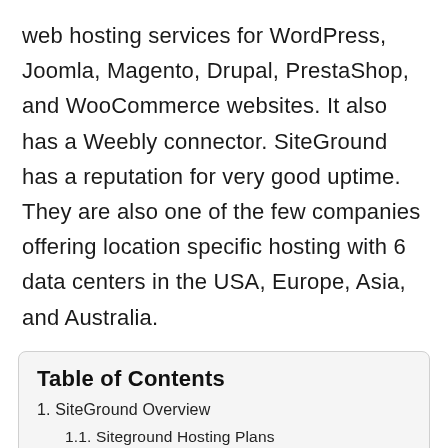web hosting services for WordPress, Joomla, Magento, Drupal, PrestaShop, and WooCommerce websites. It also has a Weebly connector. SiteGround has a reputation for very good uptime. They are also one of the few companies offering location specific hosting with 6 data centers in the USA, Europe, Asia, and Australia.
Table of Contents
1. SiteGround Overview
1.1. Siteground Hosting Plans
1.2. Pros Of Siteground Review
1.2.1. EASY & FAST Website Building
1.2.2. SMOOTH Website Transfer
1.2.3. SUPERFAST SERVERS: 99% Uptime and Above Average Loading Time
1.2.4. Customer Support Experience Top Notch
1.2.5. Free SSL Certification and Cached Policy